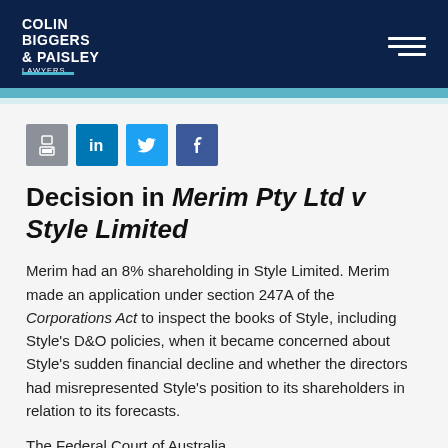COLIN BIGGERS & PAISLEY LAWYERS
[Figure (logo): Colin Biggers & Paisley Lawyers logo with social media share icons (print, LinkedIn, Twitter, Facebook)]
Decision in Merim Pty Ltd v Style Limited
Merim had an 8% shareholding in Style Limited. Merim made an application under section 247A of the Corporations Act to inspect the books of Style, including Style's D&O policies, when it became concerned about Style's sudden financial decline and whether the directors had misrepresented Style's position to its shareholders in relation to its forecasts.
The Federal Court of Australia...